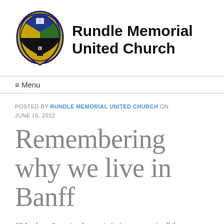[Figure (logo): Rundle Memorial United Church shield logo with cross, book, and other religious symbols]
Rundle Memorial United Church
≡ Menu
POSTED BY RUNDLE MEMORIAL UNITED CHURCH ON JUNE 16, 2012
Remembering why we live in Banff
"O Lord, our Sovereign, how majestic is your name in all the